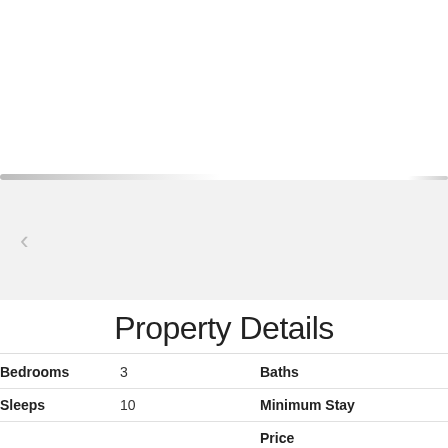[Figure (screenshot): Top white area with a navigation bar shadow at the bottom, partially visible UI elements]
[Figure (screenshot): Gray navigation band with a left arrow chevron for image carousel navigation]
Property Details
| Field | Value | Field | Value |
| --- | --- | --- | --- |
| Bedrooms | 3 | Baths |  |
| Sleeps | 10 | Minimum Stay |  |
|  |  | Price |  |
| Property Description | House, 3 Bedrooms + Convertible bed(s), 4 Baths, (Sleeps 8-1… |  |  |
|  | At 5 Loblolly Road off the live oak lined Greenwood Drive, this … everyone in your group. With amazing views of the Sea Pines… |  |  |